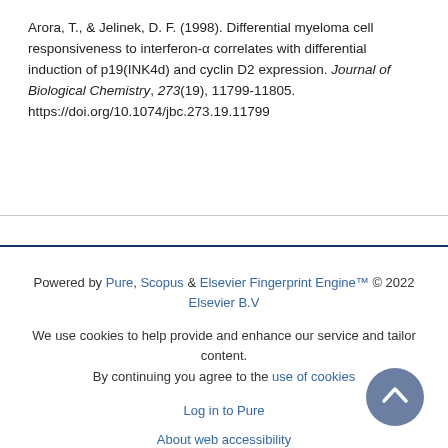Arora, T., & Jelinek, D. F. (1998). Differential myeloma cell responsiveness to interferon-α correlates with differential induction of p19(INK4d) and cyclin D2 expression. Journal of Biological Chemistry, 273(19), 11799-11805. https://doi.org/10.1074/jbc.273.19.11799
Powered by Pure, Scopus & Elsevier Fingerprint Engine™ © 2022 Elsevier B.V
We use cookies to help provide and enhance our service and tailor content. By continuing you agree to the use of cookies
Log in to Pure
About web accessibility
Contact us